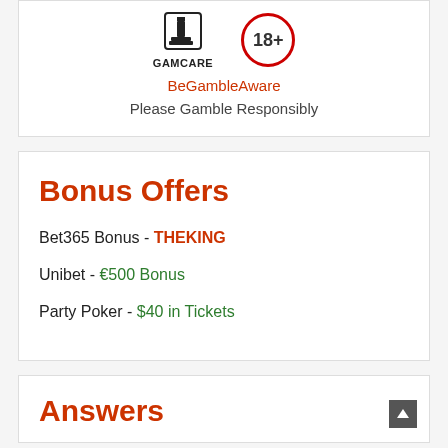[Figure (logo): GamCare logo and 18+ age badge]
BeGambleAware
Please Gamble Responsibly
Bonus Offers
Bet365 Bonus - THEKING
Unibet - €500 Bonus
Party Poker - $40 in Tickets
Answers